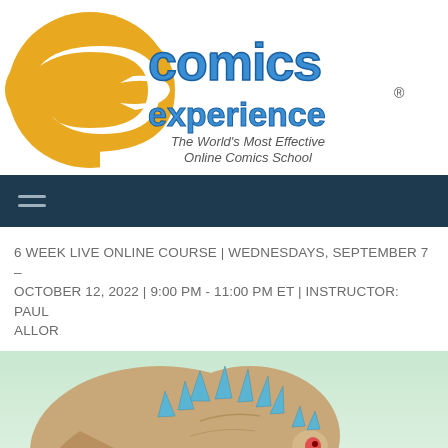[Figure (logo): Comics Experience logo — yellow C-shape with blue 'comics experience' text and tagline 'The World's Most Effective Online Comics School']
[Figure (other): Dark navy navigation bar with hamburger menu icon (three horizontal lines)]
6 WEEK LIVE ONLINE COURSE | WEDNESDAYS, SEPTEMBER 7 – OCTOBER 12, 2022 | 9:00 PM - 11:00 PM ET | INSTRUCTOR: PAUL ALLOR
[Figure (illustration): Comic book style illustration of a dinosaur (raptor-like) with blue spiky features, brown/tan coloring, red eye, against a light sky background with green foliage at bottom right]